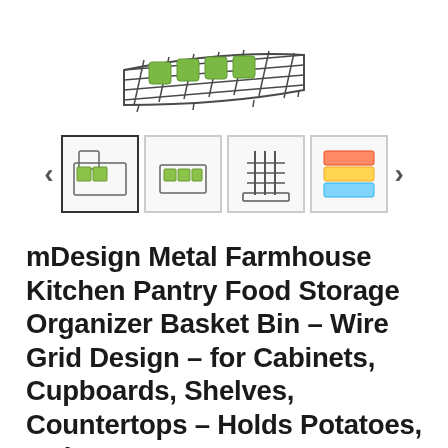[Figure (photo): Top portion of a metal wire grid basket/bin product photo on white background]
[Figure (photo): Thumbnail carousel showing 4 product images of metal wire baskets and colored storage bins, with left and right navigation arrows]
mDesign Metal Farmhouse Kitchen Pantry Food Storage Organizer Basket Bin - Wire Grid Design - for Cabinets, Cupboards, Shelves, Countertops - Holds Potatoes, Onions